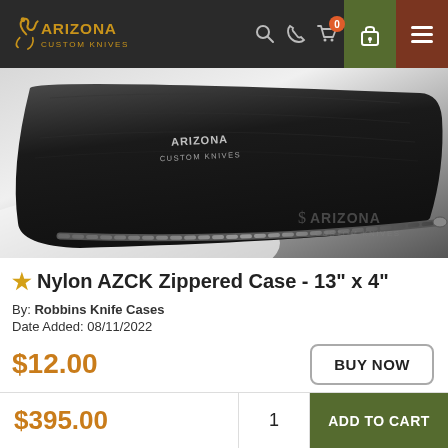Arizona Custom Knives — navigation header with logo, search, phone, cart (0), lock, menu
[Figure (photo): Close-up photo of a black nylon AZCK zippered knife case with Arizona Custom Knives branding and a zipper visible]
★ Nylon AZCK Zippered Case - 13" x 4"
By: Robbins Knife Cases
Date Added: 08/11/2022
$12.00
BUY NOW
$395.00   1   ADD TO CART